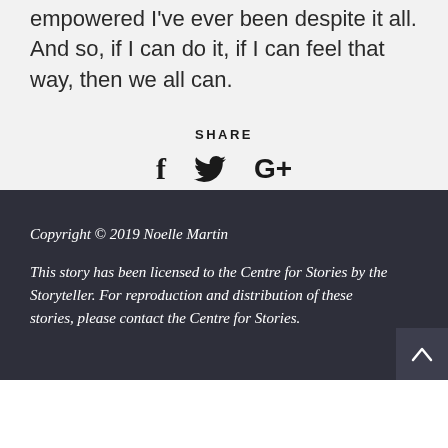empowered I've ever been despite it all. And so, if I can do it, if I can feel that way, then we all can.
SHARE
f  Twitter  G+
Copyright © 2019 Noelle Martin
This story has been licensed to the Centre for Stories by the Storyteller. For reproduction and distribution of these stories, please contact the Centre for Stories.